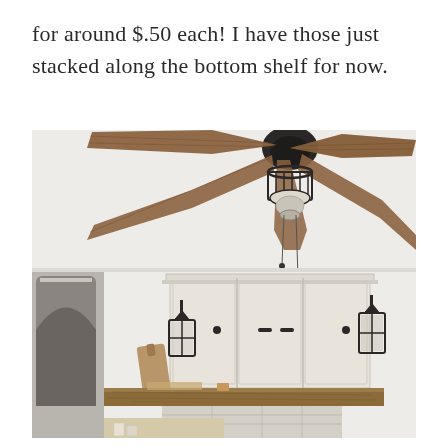for around $.50 each! I have those just stacked along the bottom shelf for now.
[Figure (photo): Interior room photo showing a ceiling fan with five wooden blades and a cage-style light fixture with pull chains, mounted near the ceiling. Below, there are white painted cabinet doors, wall-mounted black lantern sconces on either side, a rustic wooden beam shelf over a fireplace mantle, a wooden cutting board, and a decorative tray. An arched doorway is visible on the left side.]